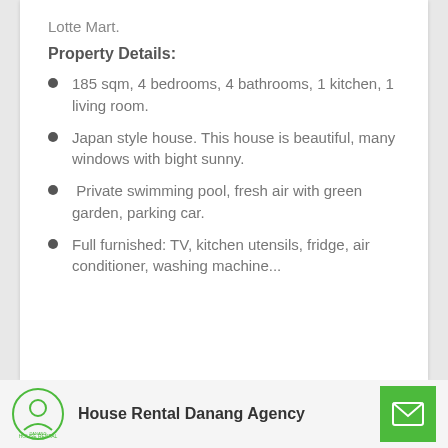Lotte Mart.
Property Details:
185 sqm, 4 bedrooms, 4 bathrooms, 1 kitchen, 1 living room.
Japan style house. This house is beautiful, many windows with bight sunny.
Private swimming pool, fresh air with green garden, parking car.
Full furnished: TV, kitchen utensils, fridge, air conditioner, washing machine...
House Rental Danang Agency